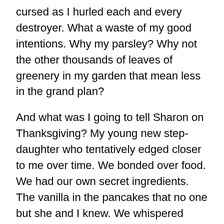cursed as I hurled each and every destroyer. What a waste of my good intentions. Why my parsley? Why not the other thousands of leaves of greenery in my garden that mean less in the grand plan?
And what was I going to tell Sharon on Thanksgiving? My young new step-daughter who tentatively edged closer to me over time. We bonded over food. We had our own secret ingredients. The vanilla in the pancakes that no one but she and I knew. We whispered gently together.
Now where will she find the parsley when I hand her the small scissors on a cold Thanksgiving morning. To season the stuffing? To garnish the potatoes. To make our perfect family gathering complete. What will we whisper about now that the parsley is gone?